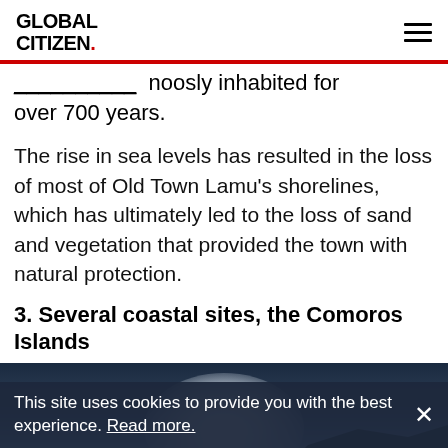GLOBAL CITIZEN.
noosly inhabited for over 700 years.
The rise in sea levels has resulted in the loss of most of Old Town Lamu's shorelines, which has ultimately led to the loss of sand and vegetation that provided the town with natural protection.
3. Several coastal sites, the Comoros Islands
[Figure (photo): Landscape photo showing a bright glowing sky over dark silhouetted hills, coastal scene related to Comoros Islands]
This site uses cookies to provide you with the best experience. Read more.